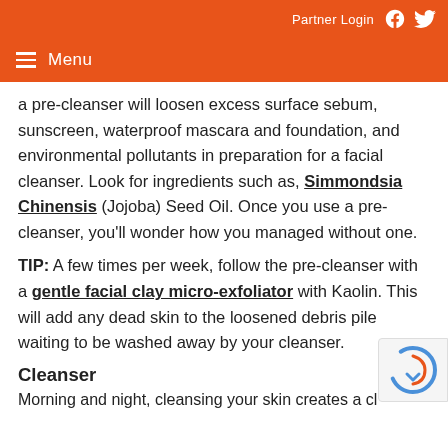Partner Login
Menu
a pre-cleanser will loosen excess surface sebum, sunscreen, waterproof mascara and foundation, and environmental pollutants in preparation for a facial cleanser. Look for ingredients such as, Simmondsia Chinensis (Jojoba) Seed Oil. Once you use a pre-cleanser, you'll wonder how you managed without one.
TIP: A few times per week, follow the pre-cleanser with a gentle facial clay micro-exfoliator with Kaolin. This will add any dead skin to the loosened debris pile waiting to be washed away by your cleanser.
Cleanser
Morning and night, cleansing your skin creates a cl...